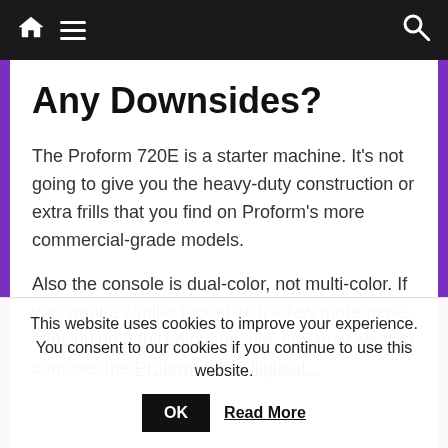Navigation bar with home icon, menu icon, and search icon
Any Downsides?
The Proform 720E is a starter machine. It’s not going to give you the heavy-duty construction or extra frills that you find on Proform’s more commercial-grade models.
Also the console is dual-color, not multi-color. If you want a similar model with a few more perks – including a full color console, you may want to consider the Proform 800 Elliptical...
This website uses cookies to improve your experience. You consent to our cookies if you continue to use this website.